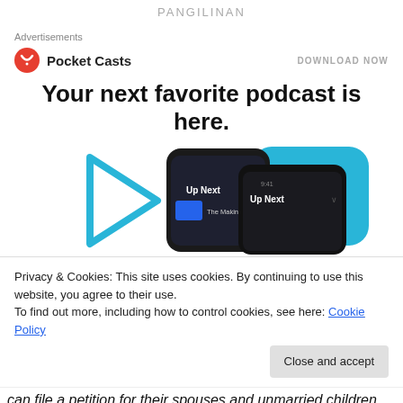PANGILINAN
Advertisements
[Figure (logo): Pocket Casts logo — red circular icon with white play/wave symbol, followed by bold text 'Pocket Casts']
DOWNLOAD NOW
Your next favorite podcast is here.
[Figure (screenshot): Illustration of two smartphones showing the Pocket Casts app 'Up Next' queue screen, overlaid on a blue rounded rectangle background with a blue triangular play outline on the left.]
Privacy & Cookies: This site uses cookies. By continuing to use this website, you agree to their use.
To find out more, including how to control cookies, see here: Cookie Policy
Close and accept
can file a petition for their spouses and unmarried children.